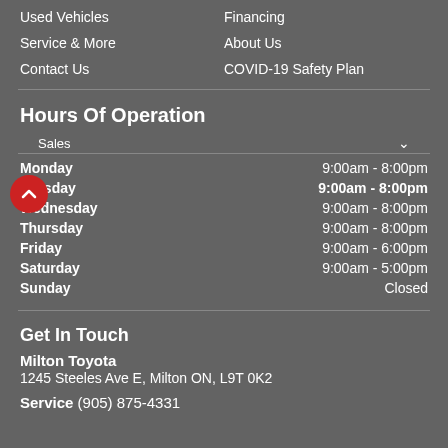Used Vehicles
Financing
Service & More
About Us
Contact Us
COVID-19 Safety Plan
Hours Of Operation
Sales
| Day | Hours |
| --- | --- |
| Monday | 9:00am - 8:00pm |
| Tuesday | 9:00am - 8:00pm |
| Wednesday | 9:00am - 8:00pm |
| Thursday | 9:00am - 8:00pm |
| Friday | 9:00am - 6:00pm |
| Saturday | 9:00am - 5:00pm |
| Sunday | Closed |
Get In Touch
Milton Toyota
1245 Steeles Ave E, Milton ON, L9T 0K2
Service  (905) 875-4331